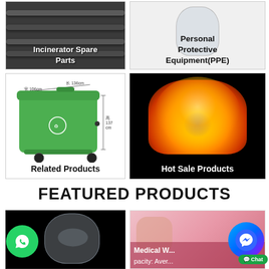[Figure (photo): Incinerator spare parts - pipes on dark background]
Incinerator Spare Parts
[Figure (photo): Personal Protective Equipment (PPE) - white protective gear on light background]
Personal Protective Equipment(PPE)
[Figure (photo): Large green wheeled bin with dimensions: 宽106cm wide, 长136cm long, 高137cm tall]
Related Products
[Figure (photo): Fire/flames burning - Hot Sale Products category]
Hot Sale Products
FEATURED PRODUCTS
[Figure (photo): Plastic bag or wrapping on black background]
[Figure (photo): Medical waste - partially obscured label reading 'Medical W... pacity: Aver...' with pink/skin-tone background]